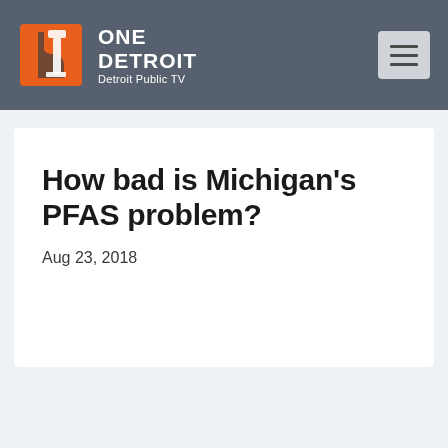ONE DETROIT Detroit Public TV
How bad is Michigan's PFAS problem?
Aug 23, 2018